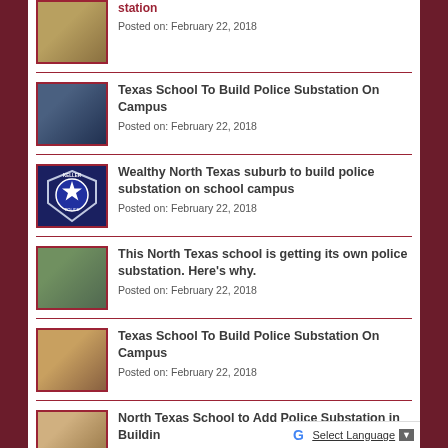[Figure (photo): Partial news item thumbnail at top - aerial/landscape photo]
station
Posted on: February 22, 2018
[Figure (photo): News thumbnail - man in suit with police badge logo]
Texas School To Build Police Substation On Campus
Posted on: February 22, 2018
[Figure (logo): Keller Police badge logo - blue shield with star]
Wealthy North Texas suburb to build police substation on school campus
Posted on: February 22, 2018
[Figure (photo): Aerial view of school campus surrounded by trees]
This North Texas school is getting its own police substation. Here's why.
Posted on: February 22, 2018
[Figure (photo): School building with distinctive roof architecture]
Texas School To Build Police Substation On Campus
Posted on: February 22, 2018
[Figure (photo): Two people - man and woman in indoor setting]
North Texas School to Add Police Substation in Building
Posted on: February 22, 2018